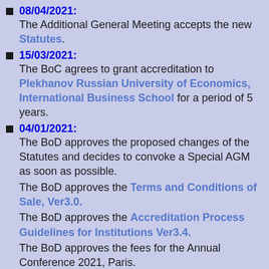08/04/2021: The Additional General Meeting accepts the new Statutes.
15/03/2021: The BoC agrees to grant accreditation to Plekhanov Russian University of Economics, International Business School for a period of 5 years.
04/01/2021: The BoD approves the proposed changes of the Statutes and decides to convoke a Special AGM as soon as possible. The BoD approves the Terms and Conditions of Sale, Ver3.0. The BoD approves the Accreditation Process Guidelines for Institutions Ver3.4. The BoD approves the fees for the Annual Conference 2021, Paris.